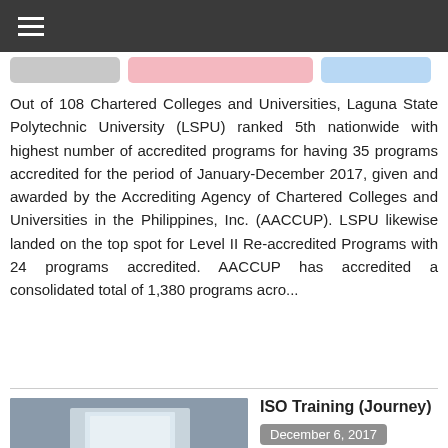≡
Out of 108 Chartered Colleges and Universities, Laguna State Polytechnic University (LSPU) ranked 5th nationwide with highest number of accredited programs for having 35 programs accredited for the period of January-December 2017, given and awarded by the Accrediting Agency of Chartered Colleges and Universities in the Philippines, Inc. (AACCUP). LSPU likewise landed on the top spot for Level II Re-accredited Programs with 24 programs accredited. AACCUP has accredited a consolidated total of 1,380 programs acro...
ISO Training (Journey)
December 6, 2017 · San Pablo City Campus · Campus Wide
[Figure (photo): People seated in a training/workshop room, viewed from the back, with a presentation at the front.]
September 28, 2015 - ISO workshop was held at Siniloan Campus for the formulation of the University quality policy. This quality policy is the